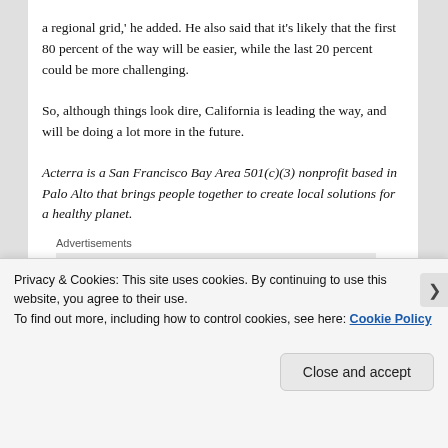a regional grid,' he added. He also said that it's likely that the first 80 percent of the way will be easier, while the last 20 percent could be more challenging.
So, although things look dire, California is leading the way, and will be doing a lot more in the future.
Acterra is a San Francisco Bay Area 501(c)(3) nonprofit based in Palo Alto that brings people together to create local solutions for a healthy planet.
[Figure (logo): P2 logo: black square with grid icon and bold P2 text, shown inside an advertisement box labeled 'Advertisements']
Privacy & Cookies: This site uses cookies. By continuing to use this website, you agree to their use.
To find out more, including how to control cookies, see here: Cookie Policy
Close and accept